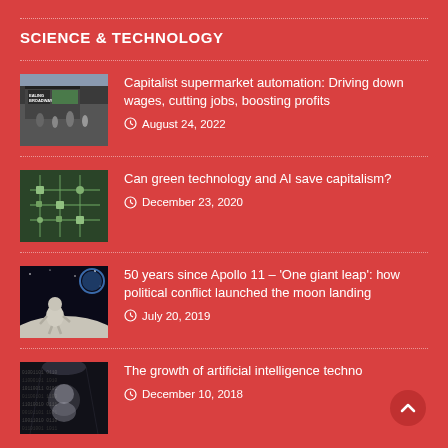SCIENCE & TECHNOLOGY
[Figure (photo): Street photo of Ealing Broadway shops with people]
Capitalist supermarket automation: Driving down wages, cutting jobs, boosting profits
August 24, 2022
[Figure (photo): Close-up of green circuit board electronics]
Can green technology and AI save capitalism?
December 23, 2020
[Figure (photo): Astronaut on the moon surface]
50 years since Apollo 11 – 'One giant leap': how political conflict launched the moon landing
July 20, 2019
[Figure (photo): Robot or AI figure with dark background and code]
The growth of artificial intelligence techno
December 10, 2018